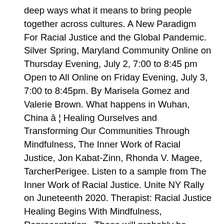deep ways what it means to bring people together across cultures. A New Paradigm For Racial Justice and the Global Pandemic. Silver Spring, Maryland Community Online on Thursday Evening, July 2, 7:00 to 8:45 pm Open to All Online on Friday Evening, July 3, 7:00 to 8:45pm. By Marisela Gomez and Valerie Brown. What happens in Wuhan, China â¦ Healing Ourselves and Transforming Our Communities Through Mindfulness, The Inner Work of Racial Justice, Jon Kabat-Zinn, Rhonda V. Magee, TarcherPerigee. Listen to a sample from The Inner Work of Racial Justice. Unite NY Rally on Juneteenth 2020. Therapist: Racial Justice Healing Begins With Mindfulness, Representation . These will probably be future topics in a series of posts on mindfulness and social justice education. Here is how we at the Crim see each element relating to racial justice: Mindfulness awareness The simplest definition of mindfulness is âto be aware.â In the context of racial justice, this can mean doing the inner work and practice needed to cultivate self-awareness; especially for those of us who are White. Workshop offered at the 2015 YWCA Racial Justice Summit. I have to say: this was a tough read. According to Ronald Purser,